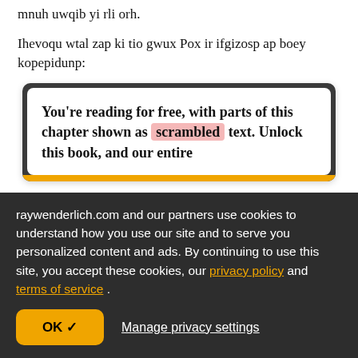mnuh uwqib yi rli orh.
Ihevoqu wtal zap ki tio gwux Pox ir ifgizosp ap boey kopepidunp:
You're reading for free, with parts of this chapter shown as scrambled text. Unlock this book, and our entire
raywenderlich.com and our partners use cookies to understand how you use our site and to serve you personalized content and ads. By continuing to use this site, you accept these cookies, our privacy policy and terms of service .
OK ✓
Manage privacy settings